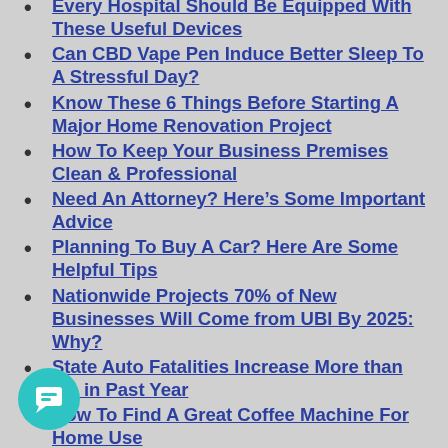Every Hospital Should Be Equipped With These Useful Devices
Can CBD Vape Pen Induce Better Sleep To A Stressful Day?
Know These 6 Things Before Starting A Major Home Renovation Project
How To Keep Your Business Premises Clean & Professional
Need An Attorney? Here's Some Important Advice
Planning To Buy A Car? Here Are Some Helpful Tips
Nationwide Projects 70% of New Businesses Will Come from UBI By 2025: Why?
State Auto Fatalities Increase More than 7% in Past Year
How To Find A Great Coffee Machine For Home Use
4 Tips for Having a Memorable Honeymoon Together